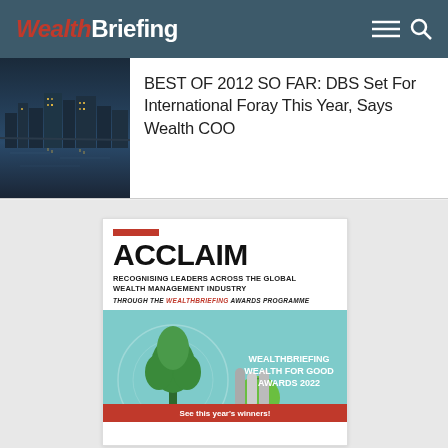WealthBriefing
BEST OF 2012 SO FAR: DBS Set For International Foray This Year, Says Wealth COO
[Figure (photo): City skyline at night reflected in water]
[Figure (infographic): ACCLAIM - Recognising Leaders Across The Global Wealth Management Industry Through The WealthBriefing Awards Programme. WealthBriefing Wealth For Good Awards 2022. See this year's winners!]